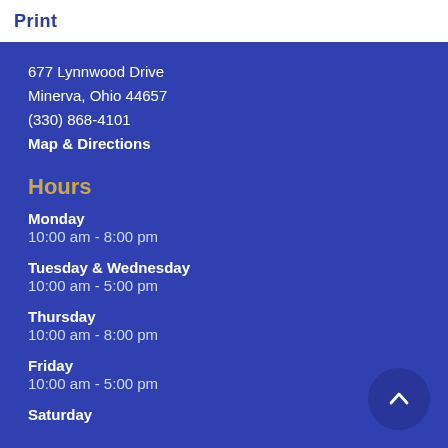Print
677 Lynnwood Drive
Minerva, Ohio 44657
(330) 868-4101
Map & Directions
Hours
Monday
10:00 am - 8:00 pm
Tuesday & Wednesday
10:00 am - 5:00 pm
Thursday
10:00 am - 8:00 pm
Friday
10:00 am - 5:00 pm
Saturday